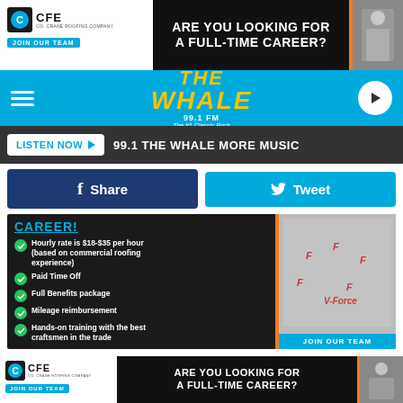[Figure (other): CFE roofing company advertisement banner - ARE YOU LOOKING FOR A FULL-TIME CAREER? JOIN OUR TEAM - with worker photo]
[Figure (logo): The Whale 99.1 FM radio station header with hamburger menu and play button]
LISTEN NOW ▶  99.1 THE WHALE MORE MUSIC
f Share
Tweet
[Figure (other): CFE career advertisement: CAREER! Hourly rate is $18-$35 per hour (based on commercial roofing experience), Paid Time Off, Full Benefits package, Mileage reimbursement, Hands-on training with the best craftsmen in the trade. JOIN OUR TEAM]
Whether you want to stay up until sunrise or pass out on the couch, we've created the perfect space
[Figure (other): CFE roofing company bottom advertisement banner - ARE YOU LOOKING FOR A FULL-TIME CAREER? JOIN OUR TEAM]